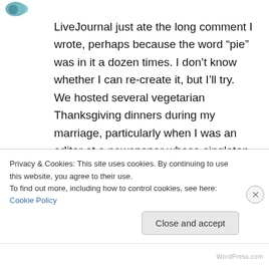[Figure (logo): Small teal/blue circular logo icon in the upper left]
LiveJournal just ate the long comment I wrote, perhaps because the word “pie” was in it a dozen times. I don’t know whether I can re-create it, but I’ll try. We hosted several vegetarian Thanksgiving dinners during my marriage, particularly when I was an editor at a newspaper whose singleton reporters could never get home for the holiday. One year we did do a Tofurkey, to no great applause but nobody hating it (I thought it was
Privacy & Cookies: This site uses cookies. By continuing to use this website, you agree to their use.
To find out more, including how to control cookies, see here: Cookie Policy
WordPress.com